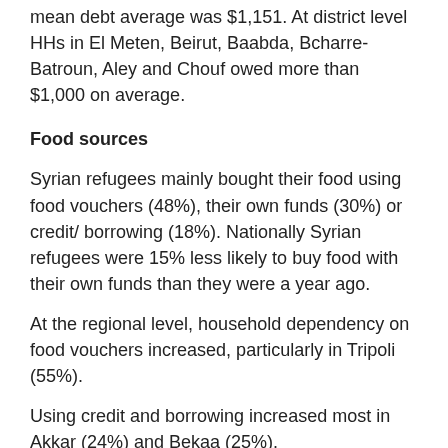mean debt average was $1,151. At district level HHs in El Meten, Beirut, Baabda, Bcharre-Batroun, Aley and Chouf owed more than $1,000 on average.
Food sources
Syrian refugees mainly bought their food using food vouchers (48%), their own funds (30%) or credit/ borrowing (18%). Nationally Syrian refugees were 15% less likely to buy food with their own funds than they were a year ago.
At the regional level, household dependency on food vouchers increased, particularly in Tripoli (55%).
Using credit and borrowing increased most in Akkar (24%) and Bekaa (25%).
Food insecurity
The food security situation of Syrian refugees in Lebanon